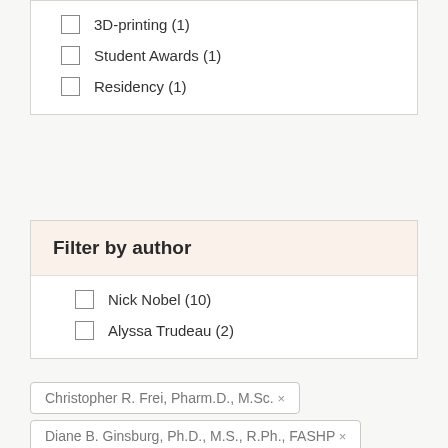3D-printing (1)
Student Awards (1)
Residency (1)
Filter by author
Nick Nobel (10)
Alyssa Trudeau (2)
Christopher R. Frei, Pharm.D., M.Sc. ×
Diane B. Ginsburg, Ph.D., M.S., R.Ph., FASHP ×
Edward M. Mills, Ph.D. ×